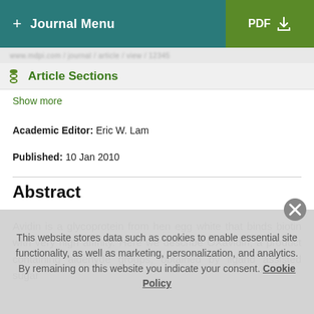+ Journal Menu | PDF
Article Sections
Show more
Academic Editor: Eric W. Lam
Published: 10 Jan 2010
Abstract
Avidin is a glycoprotein from hen egg white that binds biotin with very high affinity. Here we describe OXavidin, a product containing aldehyde groups, obtained by ligand assisted sugar...
This website stores data such as cookies to enable essential site functionality, as well as marketing, personalization, and analytics. By remaining on this website you indicate your consent. Cookie Policy